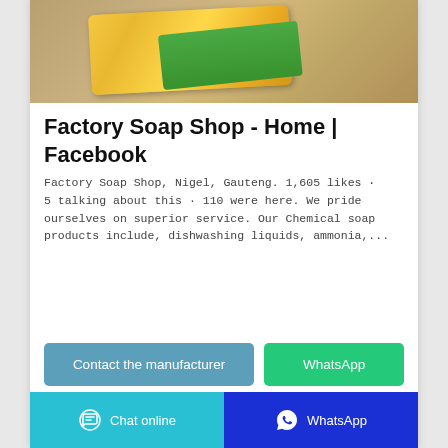[Figure (photo): Product photo of Factory Soap Shop item (yellow/orange packaged soap product on wooden surface)]
Factory Soap Shop - Home | Facebook
Factory Soap Shop, Nigel, Gauteng. 1,605 likes · 5 talking about this · 110 were here. We pride ourselves on superior service. Our Chemical soap products include, dishwashing liquids, ammonia,...
Contact the manufacturer
WhatsApp
Chat online   WhatsApp